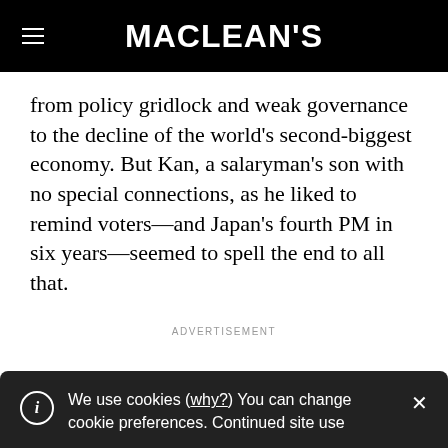MACLEAN'S
from policy gridlock and weak governance to the decline of the world’s second-biggest economy. But Kan, a salaryman’s son with no special connections, as he liked to remind voters—and Japan’s fourth PM in six years—seemed to spell the end to all that.
ADVERTISEMENT
We use cookies (why?) You can change cookie preferences. Continued site use